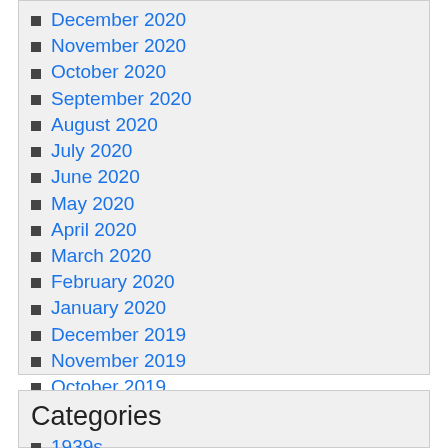December 2020
November 2020
October 2020
September 2020
August 2020
July 2020
June 2020
May 2020
April 2020
March 2020
February 2020
January 2020
December 2019
November 2019
October 2019
September 2019
August 2019
July 2019
June 2019
Categories
1939s